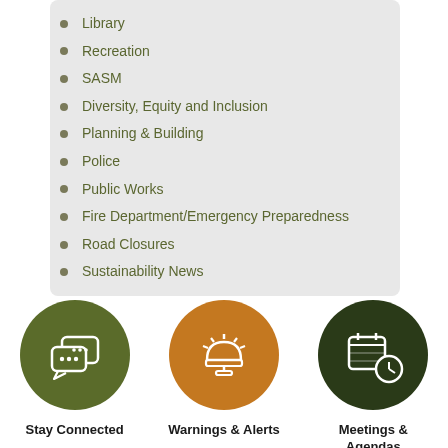Library
Recreation
SASM
Diversity, Equity and Inclusion
Planning & Building
Police
Public Works
Fire Department/Emergency Preparedness
Road Closures
Sustainability News
[Figure (illustration): Green circle icon with speech bubbles (chat). Label: Stay Connected]
Stay Connected
[Figure (illustration): Orange circle icon with emergency siren/light. Label: Warnings & Alerts]
Warnings & Alerts
[Figure (illustration): Dark green circle icon with calendar and clock. Label: Meetings & Agendas]
Meetings & Agendas